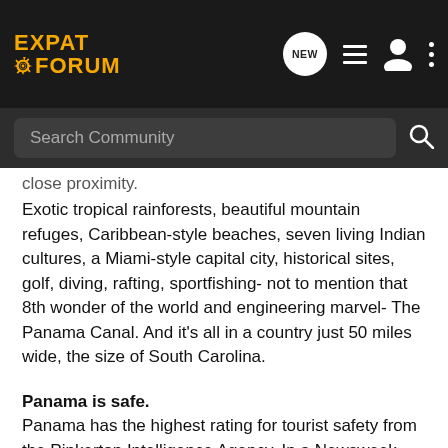EXPAT FORUM
close proximity.
Exotic tropical rainforests, beautiful mountain refuges, Caribbean-style beaches, seven living Indian cultures, a Miami-style capital city, historical sites, golf, diving, rafting, sportfishing- not to mention that 8th wonder of the world and engineering marvel- The Panama Canal. And it's all in a country just 50 miles wide, the size of South Carolina.
Panama is safe.
Panama has the highest rating for tourist safety from the Pinkerton Intelligence Agency. In a Newsweek magazine article on tourism safely worldwide, Panama received same tourism safety rating as the USA. Foreign residents in Panama will tell you how safe they feel living in Panama compared to any other country in Central America.